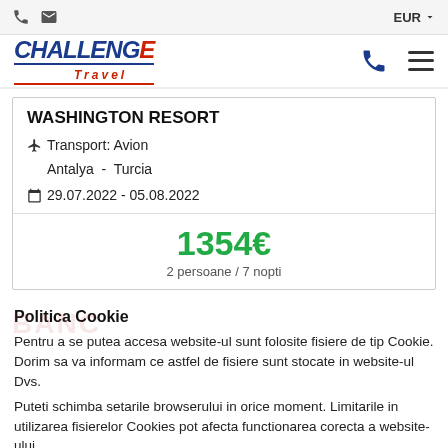EUR
[Figure (logo): Challenge Travel logo with phone and hamburger menu icons in navigation bar]
WASHINGTON RESORT
✈ Transport: Avion
Antalya  -  Turcia
📅 29.07.2022 - 05.08.2022
1354€
2 persoane / 7 nopti
Politica Cookie
Pentru a se putea accesa website-ul sunt folosite fisiere de tip Cookie. Dorim sa va informam ce astfel de fisiere sunt stocate in website-ul Dvs.
Puteti schimba setarile browserului in orice moment. Limitarile in utilizarea fisierelor Cookies pot afecta functionarea corecta a website-ului.
Sunt de acord
Nu sunt de acord